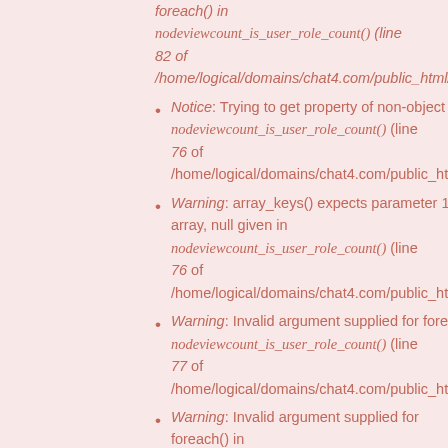foreach() in nodeviewcount_is_user_role_count() (line 82 of /home/logical/domains/chat4.com/public_html/sites/a
Notice: Trying to get property of non-object in nodeviewcount_is_user_role_count() (line 76 of /home/logical/domains/chat4.com/public_html/sites/a
Warning: array_keys() expects parameter 1 to be array, null given in nodeviewcount_is_user_role_count() (line 76 of /home/logical/domains/chat4.com/public_html/sites/a
Warning: Invalid argument supplied for foreach() in nodeviewcount_is_user_role_count() (line 77 of /home/logical/domains/chat4.com/public_html/sites/a
Warning: Invalid argument supplied for foreach() in nodeviewcount_is_user_role_count() (line 82 of